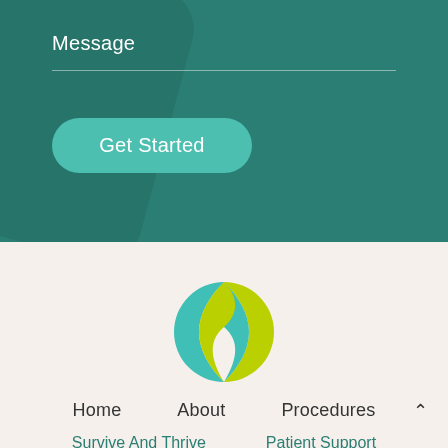Message
Get Started
[Figure (logo): Circular logo with teal and yellow-green swoosh shapes forming a globe-like icon]
Home    About    Procedures
Survive And Thrive    Patient Support